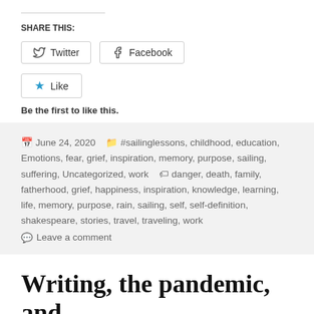SHARE THIS:
Twitter  Facebook
★ Like
Be the first to like this.
June 24, 2020  #sailinglessons, childhood, education, Emotions, fear, grief, inspiration, memory, purpose, sailing, suffering, Uncategorized, work  danger, death, family, fatherhood, grief, happiness, inspiration, knowledge, learning, life, memory, purpose, rain, sailing, self, self-definition, shakespeare, stories, travel, traveling, work
Leave a comment
Writing, the pandemic, and distraction